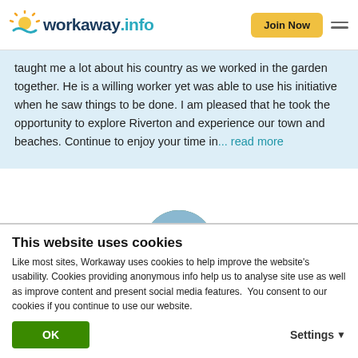workaway.info | Join Now
taught me a lot about his country as we worked in the garden together. He is a willing worker yet was able to use his initiative when he saw things to be done. I am pleased that he took the opportunity to explore Riverton and experience our town and beaches. Continue to enjoy your time in... read more
[Figure (photo): Circular profile photo of a person wearing a blue hat and backpack, outdoors in a green setting]
★★★★★ (Excellent)
This website uses cookies
Like most sites, Workaway uses cookies to help improve the website's usability. Cookies providing anonymous info help us to analyse site use as well as improve content and present social media features.  You consent to our cookies if you continue to use our website.
OK | Settings